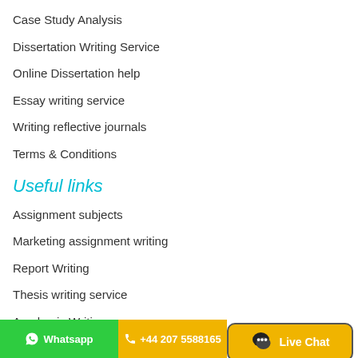Case Study Analysis
Dissertation Writing Service
Online Dissertation help
Essay writing service
Writing reflective journals
Terms & Conditions
Useful links
Assignment subjects
Marketing assignment writing
Report Writing
Thesis writing service
Academic Writing
Best Assignment service
© Whatsapp   +44 207 5588165   Live Chat